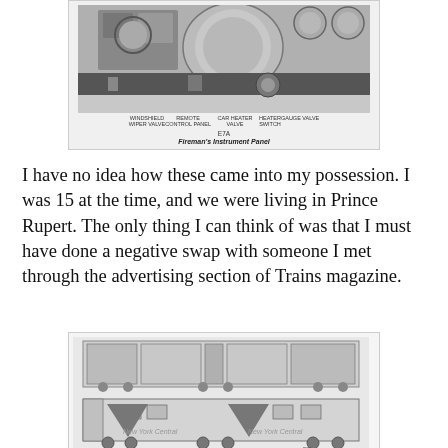[Figure (photo): Black and white photograph of E7A Fireman's Instrument Panel with labeled components: Windshield Wiper Valve, Remote Control Panel, Car Heater Valve, Heater Switch, Gauge Valve. Caption below reads 'E7A' and 'Fireman's Instrument Panel'.]
I have no idea how these came into my possession. I was 15 at the time, and we were living in Prince Rupert. The only thing I can think of was that I must have done a negative swap with someone I met through the advertising section of Trains magazine.
[Figure (engineering-diagram): Technical engineering diagram of EMD E7A locomotive showing top cutaway/plan view and side elevation view with detailed internal components. Label 'E7A' visible at bottom.]
EMD NYC 4034 was an E7A, 2,000 hp (1,491 kW) passenger locomotive: